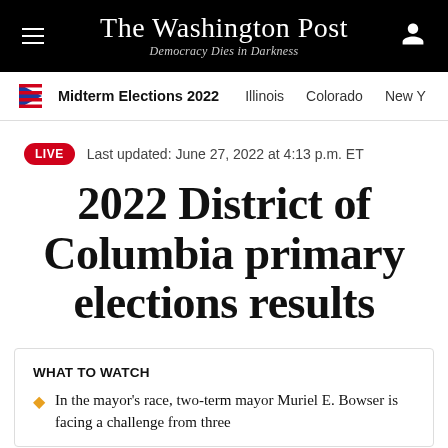The Washington Post — Democracy Dies in Darkness
Midterm Elections 2022   Illinois   Colorado   New Y
LIVE   Last updated: June 27, 2022 at 4:13 p.m. ET
2022 District of Columbia primary elections results
WHAT TO WATCH
In the mayor's race, two-term mayor Muriel E. Bowser is facing a challenge from three